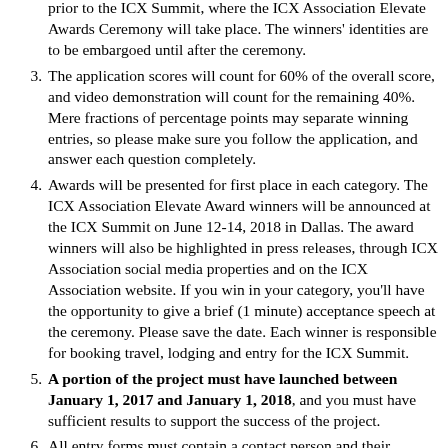prior to the ICX Summit, where the ICX Association Elevate Awards Ceremony will take place. The winners' identities are to be embargoed until after the ceremony.
The application scores will count for 60% of the overall score, and video demonstration will count for the remaining 40%. Mere fractions of percentage points may separate winning entries, so please make sure you follow the application, and answer each question completely.
Awards will be presented for first place in each category. The ICX Association Elevate Award winners will be announced at the ICX Summit on June 12-14, 2018 in Dallas. The award winners will also be highlighted in press releases, through ICX Association social media properties and on the ICX Association website. If you win in your category, you’ll have the opportunity to give a brief (1 minute) acceptance speech at the ceremony. Please save the date. Each winner is responsible for booking travel, lodging and entry for the ICX Summit.
A portion of the project must have launched between January 1, 2017 and January 1, 2018, and you must have sufficient results to support the success of the project.
All entry forms must contain a contact person and their contact information for the end-user client, not just the technology supplier.
The ICX Association reserves the right to move applicants into more appropriate categories upon receipt of application